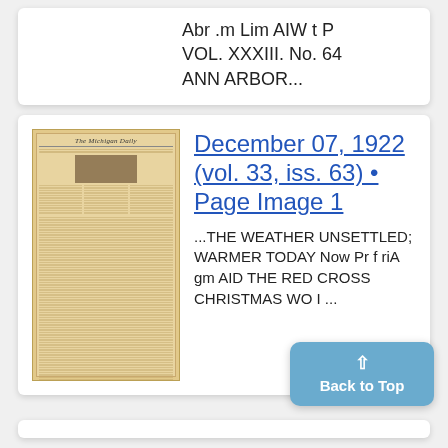Abr .m Lim AIW t P
VOL. XXXIII. No. 64
ANN ARBOR...
[Figure (photo): Thumbnail image of The Michigan Daily newspaper front page, aged/yellowed paper]
December 07, 1922 (vol. 33, iss. 63) • Page Image 1
...THE WEATHER UNSETTLED; WARMER TODAY Now Pr f riA gm AID THE RED CROSS CHRISTMAS WO I ...
Back to Top